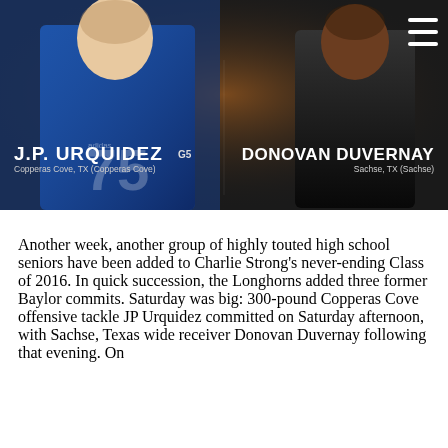[Figure (photo): Recruiting graphic showing two football players: J.P. Urquidez (#75, Copperas Cove, TX) on the left in blue jersey and Donovan Duvernay on the right in formal attire, with a stadium background. Hamburger menu icon in top right corner.]
Another week, another group of highly touted high school seniors have been added to Charlie Strong's never-ending Class of 2016. In quick succession, the Longhorns added three former Baylor commits. Saturday was big: 300-pound Copperas Cove offensive tackle JP Urquidez committed on Saturday afternoon, with Sachse, Texas wide receiver Donovan Duvernay following that evening. On